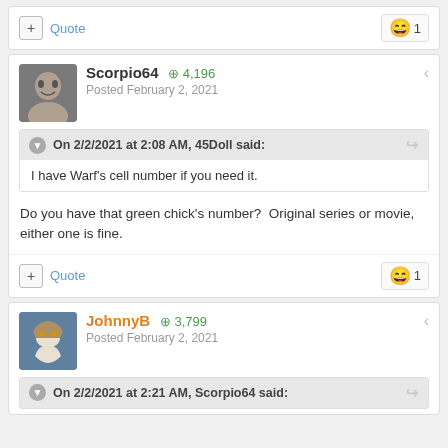+ Quote | 😄 1
Scorpio64 +4,196 Posted February 2, 2021
On 2/2/2021 at 2:08 AM, 45Doll said:
I have Warf's cell number if you need it.
Do you have that green chick's number?  Original series or movie, either one is fine.
+ Quote | 😄 1
JohnnyB +3,799 Posted February 2, 2021
On 2/2/2021 at 2:21 AM, Scorpio64 said: